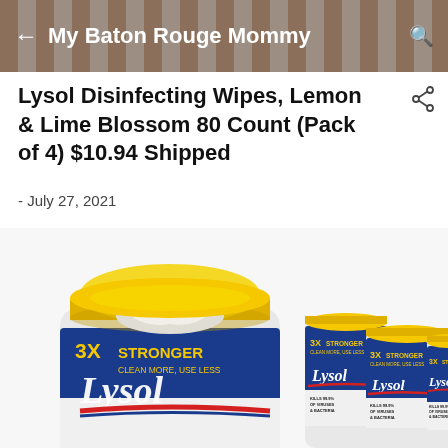My Baton Rouge Mommy
Lysol Disinfecting Wipes, Lemon & Lime Blossom 80 Count (Pack of 4) $10.94 Shipped
- July 27, 2021
[Figure (photo): Four Lysol Disinfecting Wipes containers with yellow lids. The front container is open showing wipes coming out. Each container shows '3X Stronger, Clean More, Use Less' and 'Kills 99.9% of Viruses & Bacteria' on blue and white labels with the Lysol logo.]